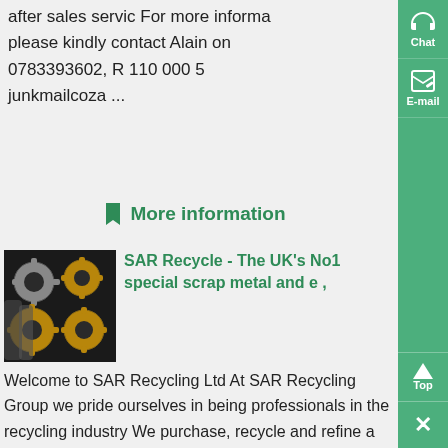after sales servic For more informa please kindly contact Alain on 0783393602, R 110 000 5 junkmailcoza ...
More information
[Figure (photo): Industrial gears and metal parts stacked together, dark background]
SAR Recycle - The UK's No1 special scrap metal and e ,
Welcome to SAR Recycling Ltd At SAR Recycling Group we pride ourselves in being professionals in the recycling industry We purchase, recycle and refine a wide range of scrap that contains precious and base metals Our divisions are based in countries such as Brazil, Lithuania, Turkey, Saudi Arabia, South Africa, UAE, United Kingdom and ....